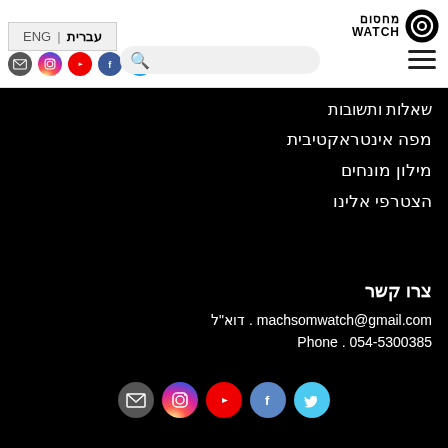[Figure (logo): MachsomWatch logo with Hebrew text and eye icon]
עברית | ENG
[Figure (infographic): Social media icons row: email, instagram, youtube, facebook, twitter]
[Figure (infographic): Search bar with magnifier icon]
[Figure (infographic): Hamburger menu icon]
שאלות ותשובות
מפה אינטראקטיבית
מילון מונחים
הצטרפי אלינו
צרו קשר
דוא"ל . machsomwatch@gmail.com
Phone . 054-5300385
[Figure (infographic): Social media icons bottom row: email, instagram, youtube, facebook, twitter]